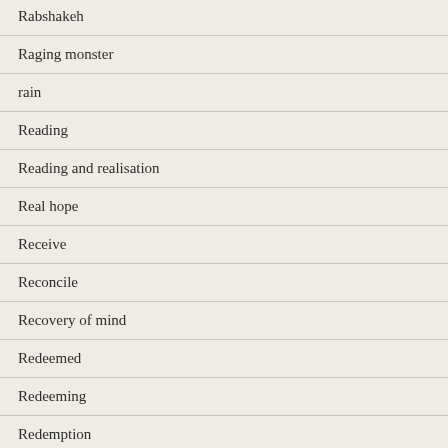Rabshakeh
Raging monster
rain
Reading
Reading and realisation
Real hope
Receive
Reconcile
Recovery of mind
Redeemed
Redeeming
Redemption
Reformation